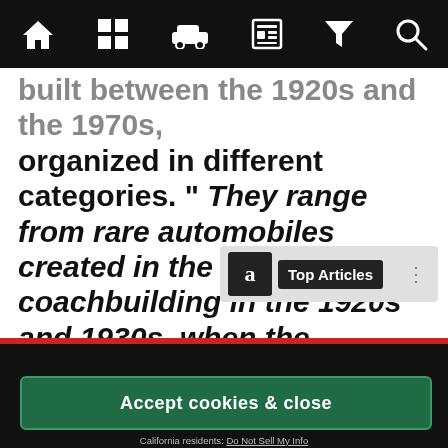[Navigation bar with home, grid, car, newspaper, filter, search icons]
built between the 1920s and the 1970s, organized in different categories. " They range from rare automobiles created in the golden era of coachbuilding in the 1920s and 1930s, when the automobile was emancipated from being essentially an... an object of d...
[Figure (screenshot): Top Articles overlay widget with 'a' icon and label]
We use cookies to improve your experience. By using the site you agree to the use of cookies. For more information and options regarding cookies and personal data see our Cookies Policy and Privacy Policy
Accept cookies & close
California residents: Do Not Sell My Info